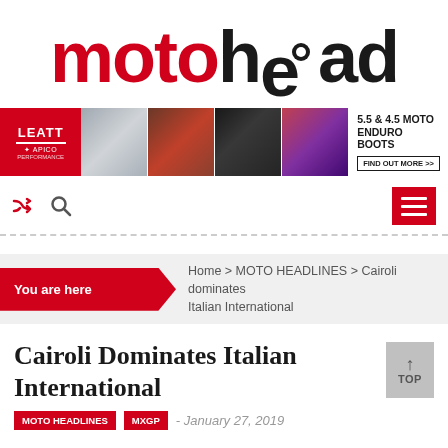MOTOHEAD
[Figure (photo): Advertisement banner for Leatt/Apico 5.5 & 4.5 Moto Enduro Boots showing product photos]
Navigation bar with shuffle icon, search icon, and hamburger menu
You are here
Home > MOTO HEADLINES > Cairoli dominates Italian International
Cairoli Dominates Italian International
MOTO HEADLINES
MXGP
- January 27, 2019